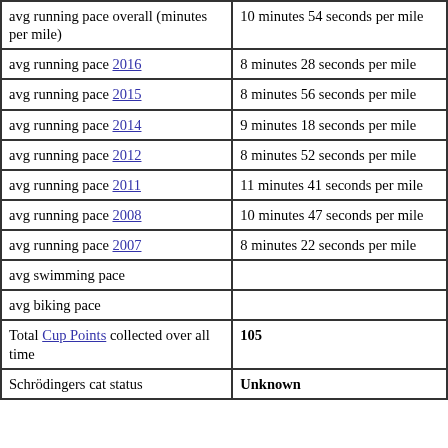| avg running pace overall (minutes per mile) | 10 minutes 54 seconds per mile |
| avg running pace 2016 | 8 minutes 28 seconds per mile |
| avg running pace 2015 | 8 minutes 56 seconds per mile |
| avg running pace 2014 | 9 minutes 18 seconds per mile |
| avg running pace 2012 | 8 minutes 52 seconds per mile |
| avg running pace 2011 | 11 minutes 41 seconds per mile |
| avg running pace 2008 | 10 minutes 47 seconds per mile |
| avg running pace 2007 | 8 minutes 22 seconds per mile |
| avg swimming pace |  |
| avg biking pace |  |
| Total Cup Points collected over all time | 105 |
| Schrödingers cat status | Unknown |